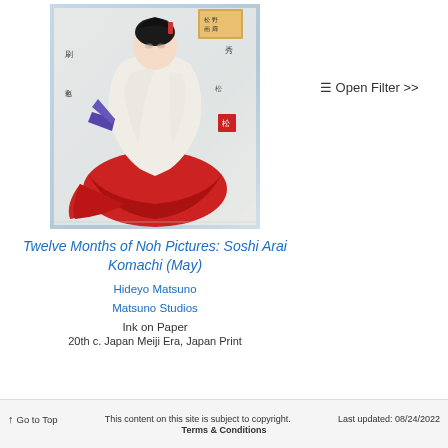[Figure (illustration): Japanese woodblock print (ukiyo-e) showing a Noh theater character in red and white robes, seated, holding a purple fan, with Japanese calligraphy text and a decorative orange box in the upper right. The background has a light blue/grey gradient.]
Twelve Months of Noh Pictures: Soshi Arai Komachi (May)
Hideyo Matsuno
Matsuno Studios
Ink on Paper
20th c. Japan Meiji Era, Japan Print
≡ Open Filter >>
↑ Go to Top   This content on this site is subject to copyright.   Last updated: 08/24/2022   Terms & Conditions